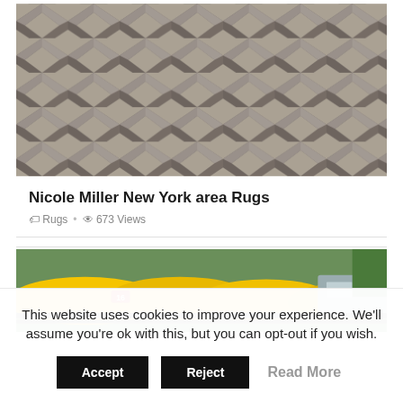[Figure (photo): Chevron/herringbone patterned rug in grey tones]
Nicole Miller New York area Rugs
Rugs · 673 Views
[Figure (photo): Yellow kayaks on a rack/trailer outdoors]
This website uses cookies to improve your experience. We'll assume you're ok with this, but you can opt-out if you wish.